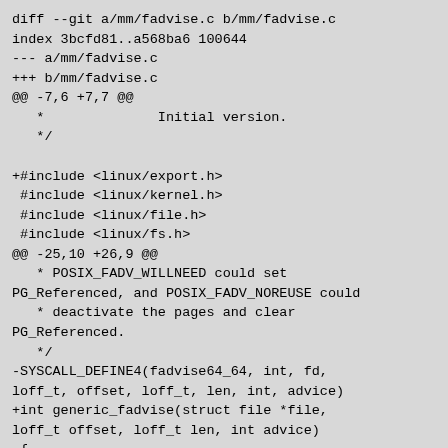diff --git a/mm/fadvise.c b/mm/fadvise.c
index 3bcfd81..a568ba6 100644
--- a/mm/fadvise.c
+++ b/mm/fadvise.c
@@ -7,6 +7,7 @@
    *              Initial version.
    */

+#include <linux/export.h>
 #include <linux/kernel.h>
 #include <linux/file.h>
 #include <linux/fs.h>
@@ -25,10 +26,9 @@
    * POSIX_FADV_WILLNEED could set PG_Referenced, and POSIX_FADV_NOREUSE could
    * deactivate the pages and clear PG_Referenced.
    */
-SYSCALL_DEFINE4(fadvise64_64, int, fd, loff_t, offset, loff_t, len, int, advice)
+int generic_fadvise(struct file *file, loff_t offset, loff_t len, int advice)
 {
-        struct fd f = fdget(fd);
-        struct address_space *mapping;